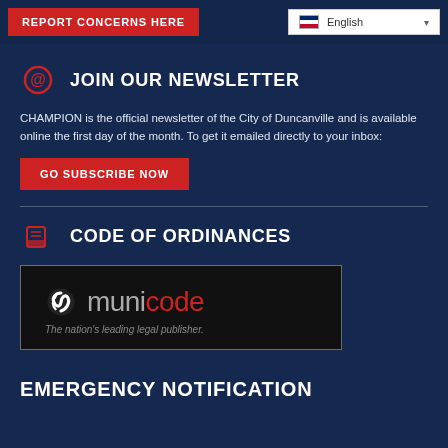REPORT CONCERNS HERE | English
JOIN OUR NEWSLETTER
CHAMPION is the official newsletter of the City of Duncanville and is available online the first day of the month. To get it emailed directly to your inbox:
GO SUBSCRIBE NOW
CODE OF ORDINANCES
[Figure (logo): Municode logo on black background with text 'The nation's leading legal publisher.']
EMERGENCY NOTIFICATION